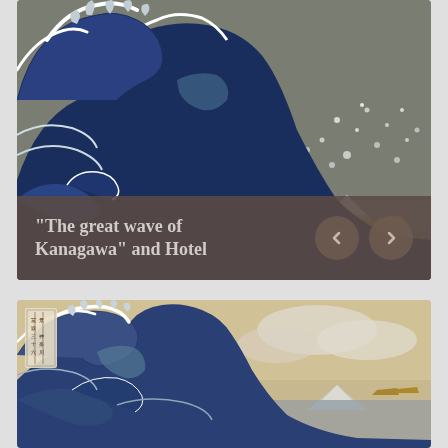[Figure (illustration): Close-up crop of 'The Great Wave off Kanagawa' by Hokusai showing dark blue wave with white foam tips and Mount Fuji in background, boats visible, gray sky with white dots]
“The great wave of Kanagawa” and Hotel
[Figure (illustration): Full view of 'The Great Wave off Kanagawa' by Hokusai showing the iconic large wave with white foam, Mount Fuji in the distance, boats, on a beige/cream background with Japanese text cartouche in upper left corner]